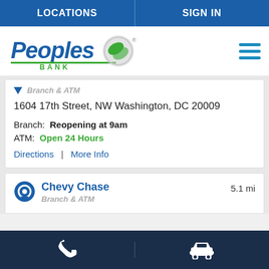LOCATIONS | SIGN IN
[Figure (logo): Peoples Bank logo with blue text and green leaf/globe icon]
Branch & ATM
1604 17th Street, NW Washington, DC 20009
Branch: Reopening at 9am
ATM: Open 24 Hours
Directions | More Info
Chevy Chase  5.1 mi
Branch & ATM
Phone | Directions (bottom navigation icons)